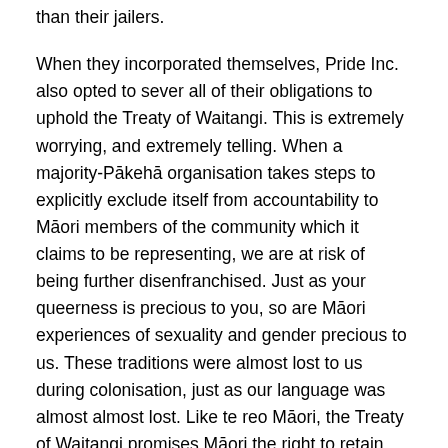than their jailers.
When they incorporated themselves, Pride Inc. also opted to sever all of their obligations to uphold the Treaty of Waitangi. This is extremely worrying, and extremely telling. When a majority-Pākehā organisation takes steps to explicitly exclude itself from accountability to Māori members of the community which it claims to be representing, we are at risk of being further disenfranchised. Just as your queerness is precious to you, so are Māori experiences of sexuality and gender precious to us. These traditions were almost lost to us during colonisation, just as our language was almost almost lost. Like te reo Māori, the Treaty of Waitangi promises Māori the right to retain our precious cultural practices – including the uniquely Māori traditions of takatāpui. Any organisation purporting to be representing